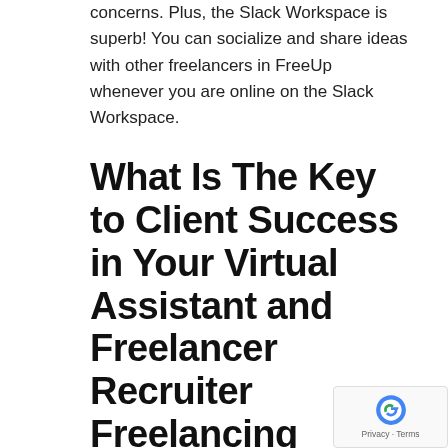concerns. Plus, the Slack Workspace is superb! You can socialize and share ideas with other freelancers in FreeUp whenever you are online on the Slack Workspace.
What Is The Key to Client Success in Your Virtual Assistant and Freelancer Recruiter Freelancing Business?
In order to achieve success as a virtual assistant, you need to set your goals so you know where you are headed early. Find the schedule you can work with and stick to it. Pick the clients that can and would be willing to pay you to help their business with your skills.